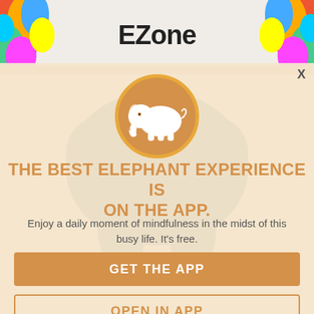[Figure (screenshot): Top banner of EZone app/website showing colorful painted hands on left and right sides with 'EZone' logo text in center, with orange/brown horizontal divider bar]
X
[Figure (logo): Orange circle with white elephant silhouette icon in center, representing the Elephant Journal app logo]
THE BEST ELEPHANT EXPERIENCE IS ON THE APP.
Enjoy a daily moment of mindfulness in the midst of this busy life. It's free.
GET THE APP
OPEN IN APP